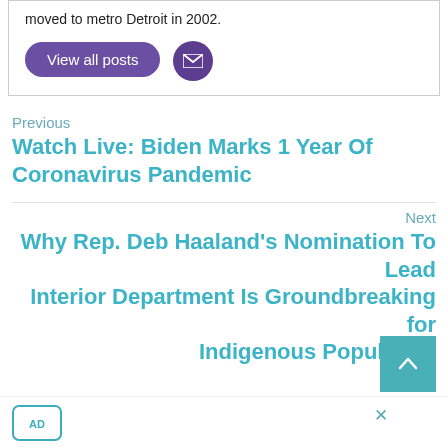moved to metro Detroit in 2002.
View all posts
Previous
Watch Live: Biden Marks 1 Year Of Coronavirus Pandemic
Next
Why Rep. Deb Haaland’s Nomination To Lead Interior Department Is Groundbreaking for Indigenous Population